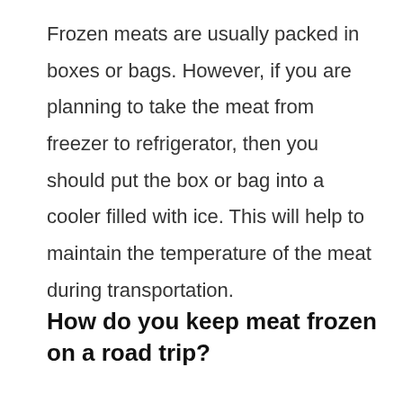Frozen meats are usually packed in boxes or bags. However, if you are planning to take the meat from freezer to refrigerator, then you should put the box or bag into a cooler filled with ice. This will help to maintain the temperature of the meat during transportation.
How do you keep meat frozen on a road trip?